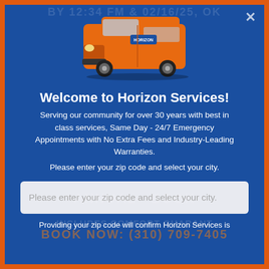[Figure (photo): Orange Horizon Services van, front-right view, on a blue background]
Welcome to Horizon Services!
Serving our community for over 30 years with best in class services, Same Day - 24/7 Emergency Appointments with No Extra Fees and Industry-Leading Warranties.
Please enter your zip code and select your city.
Please enter your zip code and select your city.
Providing your zip code will confirm Horizon Services is